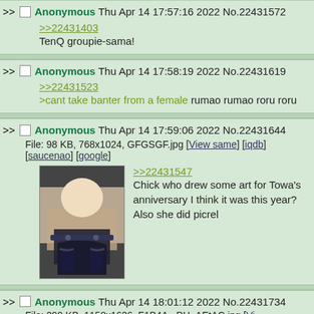>> Anonymous Thu Apr 14 17:57:16 2022 No.22431572
>>22431403
TenQ groupie-sama!
>> Anonymous Thu Apr 14 17:58:19 2022 No.22431619
>>22431523
>cant take banter from a female
rumao rumao roru roru
>> Anonymous Thu Apr 14 17:59:06 2022 No.22431644
File: 98 KB, 768x1024, GFGSGF.jpg [View same] [iqdb] [saucenao] [google]
>>22431547
Chick who drew some art for Towa's anniversary I think it was this year? Also she did picrel
>> Anonymous Thu Apr 14 18:01:12 2022 No.22431734
File: 299 KB, 1158x1636, F1B4A...